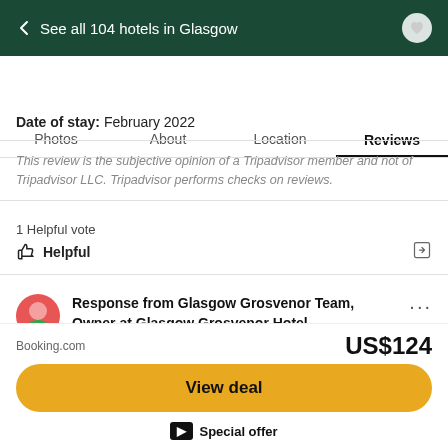← See all 104 hotels in Glasgow
Photos  About  Location  Reviews
Date of stay: February 2022
This review is the subjective opinion of a Tripadvisor member and not of Tripadvisor LLC. Tripadvisor performs checks on reviews.
1 Helpful vote
Helpful
Response from Glasgow Grosvenor Team, Owner at Glasgow Grosvenor Hotel
Responded 19 May 2022
Booking.com
US$124
View deal
Special offer